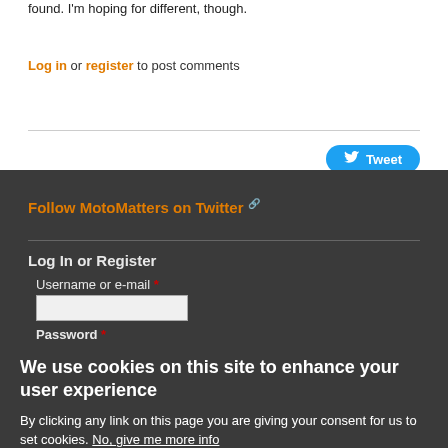found. I'm hoping for different, though.
Log in or register to post comments
Tweet
Follow MotoMatters on Twitter
Log In or Register
Username or e-mail *
Password *
We use cookies on this site to enhance your user experience
By clicking any link on this page you are giving your consent for us to set cookies. No, give me more info
OK, I agree